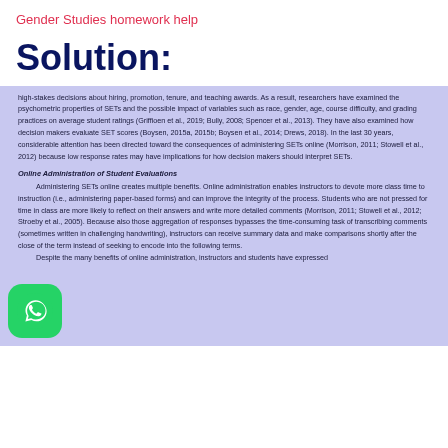Gender Studies homework help
Solution:
high-stakes decisions about hiring, promotion, tenure, and teaching awards. As a result, researchers have examined the psychometric properties of SETs and the possible impact of variables such as race, gender, age, course difficulty, and grading practices on average student ratings (Griffioen et al., 2019; Bully, 2008; Spencer et al., 2013). They have also examined how decision makers evaluate SET scores (Boysen, 2015a, 2015b; Boysen et al., 2014; Drews, 2018). In the last 30 years, considerable attention has been directed toward the consequences of administering SETs online (Morrison, 2011; Stowell et al., 2012) because low response rates may have implications for how decision makers should interpret SETs.
Online Administration of Student Evaluations
Administering SETs online creates multiple benefits. Online administration enables instructors to devote more class time to instruction (i.e., administering paper-based forms) and can improve the integrity of the process. Students who are not pressed for time in class are more likely to reflect on their answers and write more detailed comments (Morrison, 2011; Stowell et al., 2012; Stroeby et al., 2005). Because also those aggregation of responses bypasses the time-consuming task of transcribing comments (sometimes written in challenging handwriting), instructors can receive summary data and make comparisons shortly after the close of the term instead of seeking to encode into the following terms.

 Despite the many benefits of online administration, instructors and students have expressed